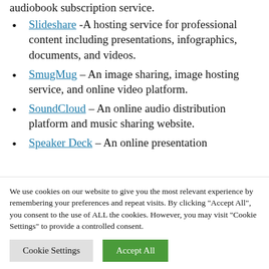Slideshare - A hosting service for professional content including presentations, infographics, documents, and videos.
SmugMug – An image sharing, image hosting service, and online video platform.
SoundCloud – An online audio distribution platform and music sharing website.
Speaker Deck – An online presentation
We use cookies on our website to give you the most relevant experience by remembering your preferences and repeat visits. By clicking "Accept All", you consent to the use of ALL the cookies. However, you may visit "Cookie Settings" to provide a controlled consent.